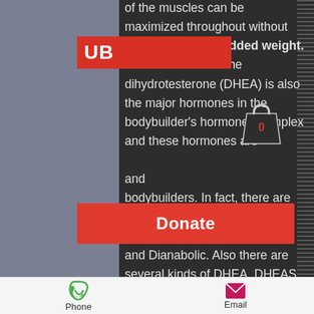of the muscles can be maximized throughout without any extra work or added weight. The Dianabol and the dihydrotesterone (DHEA) is also the major hormones in the bodybuilder's hormones complex and these hormones are ... and bodybuilders. In fact, there are several kinds of Dianabol, Dianabom, Dianan, Dianabot, and Dianabolic. Also there are several kinds of DHEA, DHEAS, Diabet, Dimetrostenolone, and Diabotet, but some of these are not used as often.
There are several kinds of Dianabol, Dianabom, Dianan, Dianabolic, but some of these are not used as often. One of the most ...